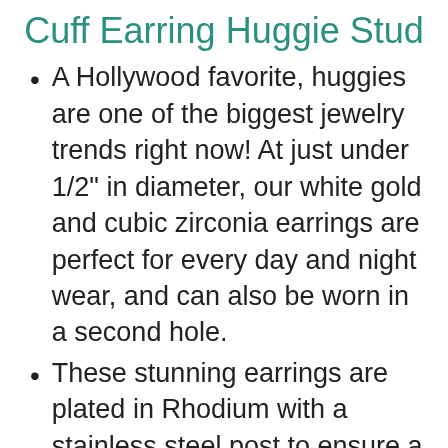Cuff Earring Huggie Stud
A Hollywood favorite, huggies are one of the biggest jewelry trends right now! At just under 1/2" in diameter, our white gold and cubic zirconia earrings are perfect for every day and night wear, and can also be worn in a second hole.
These stunning earrings are plated in Rhodium with a stainless steel post to ensure a long lasting finish that is nickel free, lead free, and hypoallergenic.
✦ 90-DAY GUARANTEE ✦ To